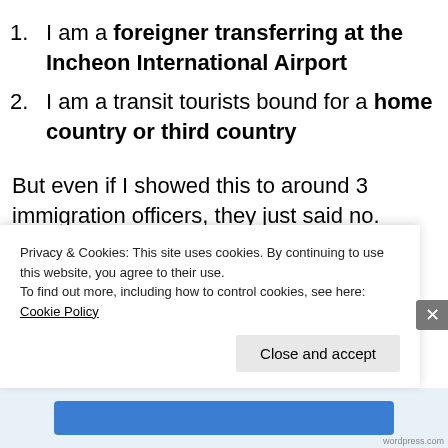I am a foreigner transferring at the Incheon International Airport
I am a transit tourists bound for a home country or third country
But even if I showed this to around 3 immigration officers, they just said no. Seems I'm interpreting their law wrong, or they don't know their own law. I would greatly appreciate someone shedding some light on this.
Privacy & Cookies: This site uses cookies. By continuing to use this website, you agree to their use.
To find out more, including how to control cookies, see here: Cookie Policy
Close and accept